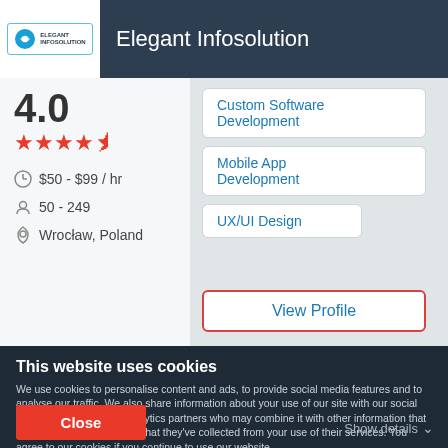Elegant Infosolution
4.0
★★★★½
$50 - $99 / hr
50 - 249
Wrocław, Poland
Custom Software Development
Mobile App Development
UX/UI Design
View Profile
This website uses cookies
We use cookies to personalise content and ads, to provide social media features and to analyse our traffic. We also share information about your use of our site with our social media, advertising and analytics partners who may combine it with other information that you've provided to them or that they've collected from your use of their services. You agree to our cookies if you continue to use our website.
Close
Show details